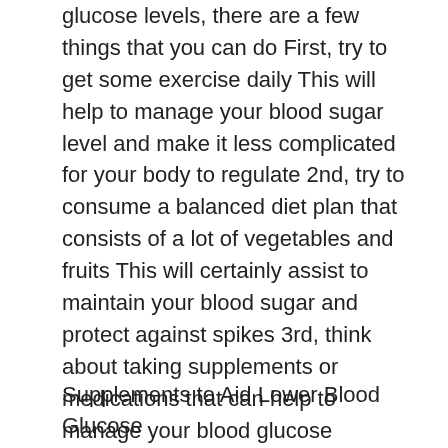glucose levels, there are a few things that you can do First, try to get some exercise daily This will help to manage your blood sugar level and make it less complicated for your body to regulate 2nd, try to consume a balanced diet plan that consists of a lot of vegetables and fruits This will certainly assist to maintain your blood sugar and protect against spikes 3rd, think about taking supplements or medications that can help to manage your blood glucose Ultimately, make certain to monitor your blood sugar levels regularly to ensure that you can adjust your strategy as required
Supplements to Aid Lower Blood Glucose